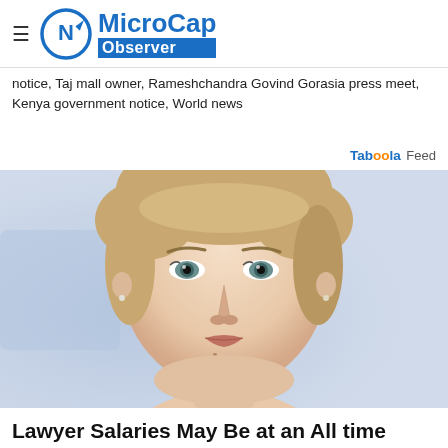MicroCap Observer
notice, Taj mall owner, Rameshchandra Govind Gorasia press meet, Kenya government notice, World news
Taboola Feed
[Figure (photo): Close-up portrait photo of a blonde woman with blue-green eyes on a light blue background]
Lawyer Salaries May Be at an All time High in Ashburn